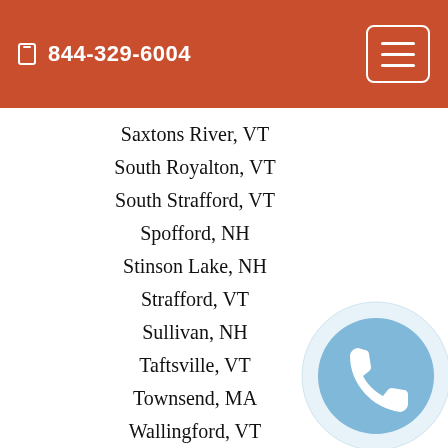844-329-6004
Saxtons River, VT
South Royalton, VT
South Strafford, VT
Spofford, NH
Stinson Lake, NH
Strafford, VT
Sullivan, NH
Taftsville, VT
Townsend, MA
Wallingford, VT
Warwick, MA
Wendell Depot, MA
West Townsend, MA
Weston, VT
Whitingham, VT
Woodstock, VT
[Figure (illustration): Phone handset icon in a light blue circle]